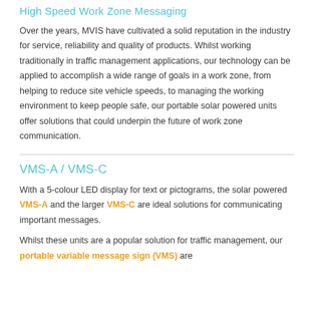High Speed Work Zone Messaging
Over the years, MVIS have cultivated a solid reputation in the industry for service, reliability and quality of products. Whilst working traditionally in traffic management applications, our technology can be applied to accomplish a wide range of goals in a work zone, from helping to reduce site vehicle speeds, to managing the working environment to keep people safe, our portable solar powered units offer solutions that could underpin the future of work zone communication.
VMS-A / VMS-C
With a 5-colour LED display for text or pictograms, the solar powered VMS-A and the larger VMS-C are ideal solutions for communicating important messages.
Whilst these units are a popular solution for traffic management, our portable variable message sign (VMS) are